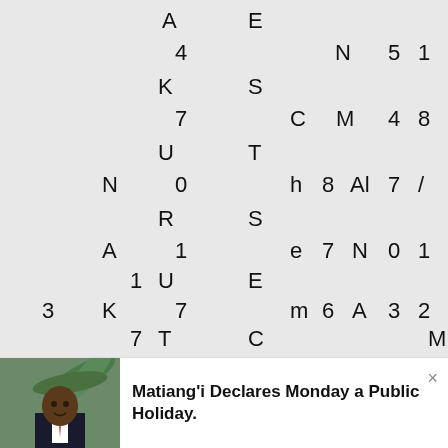[Figure (other): Word search puzzle grid with scattered letters and numbers on a gray background]
[Figure (photo): Photo of a man in a suit, likely Fred Matiang'i, against a backdrop of palm leaves]
Matiang'i Declares Monday a Public Holiday.